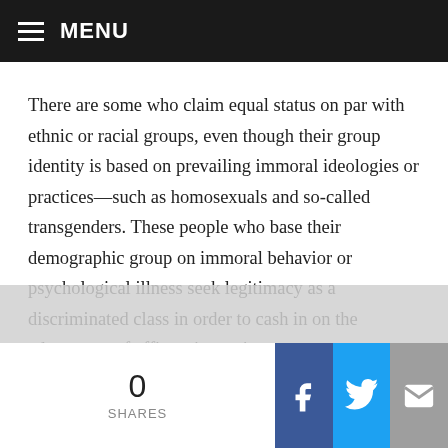MENU
There are some who claim equal status on par with ethnic or racial groups, even though their group identity is based on prevailing immoral ideologies or practices—such as homosexuals and so-called transgenders. These people who base their demographic group on immoral behavior or psychological illness seek legitimacy as a discriminated class in order to cash in on the advantages of affirmative action.
We certainly have seen a number of minority groups
0 SHARES